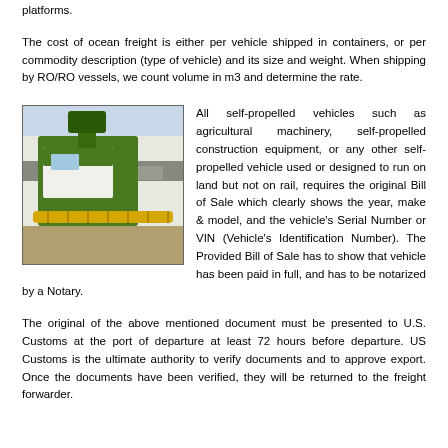platforms.
The cost of ocean freight is either per vehicle shipped in containers, or per commodity description (type of vehicle) and its size and weight. When shipping by RO/RO vessels, we count volume in m3 and determine the rate.
[Figure (photo): Photo of a green and white heavy construction vehicle or machinery being loaded/unloaded from a ship, with 'WALLENI' visible on the vessel.]
All self-propelled vehicles such as agricultural machinery, self-propelled construction equipment, or any other self-propelled vehicle used or designed to run on land but not on rail, requires the original Bill of Sale which clearly shows the year, make & model, and the vehicle's Serial Number or VIN (Vehicle's Identification Number). The Provided Bill of Sale has to show that vehicle has been paid in full, and has to be notarized by a Notary.
The original of the above mentioned document must be presented to U.S. Customs at the port of departure at least 72 hours before departure. US Customs is the ultimate authority to verify documents and to approve export. Once the documents have been verified, they will be returned to the freight forwarder.